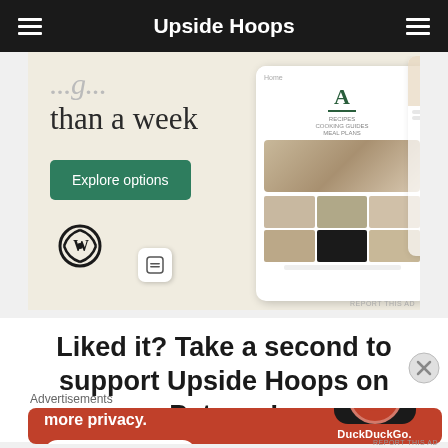Upside Hoops
[Figure (illustration): WordPress website builder advertisement showing partial text 'than a week', an Explore options button, WordPress logo, and a phone mockup with food website screenshots]
Liked it? Take a second to support Upside Hoops on Patreon!
Advertisements
[Figure (illustration): DuckDuckGo advertisement on orange-red background: 'Search, browse, and email with more privacy. All in One Free App' with phone showing DuckDuckGo logo]